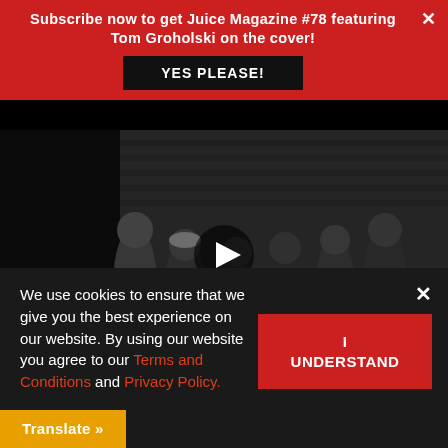Subscribe now to get Juice Magazine #78 featuring Tom Groholski on the cover!
YES PLEASE!
[Figure (photo): Black and white group photo of skateboarders with a play button overlay, indicating a video thumbnail. Multiple people posed together holding skateboards.]
We use cookies to ensure that we give you the best experience on our website. By using our website you agree to our Terms and Conditions and Privacy Policy.
I UNDERSTAND
Translate »